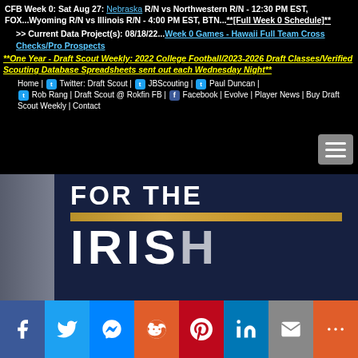CFB Week 0: Sat Aug 27: Nebraska R/N vs Northwestern R/N - 12:30 PM EST, FOX...Wyoming R/N vs Illinois R/N - 4:00 PM EST, BTN...**[Full Week 0 Schedule]**
>> Current Data Project(s): 08/18/22...Week 0 Games - Hawaii Full Team Cross Checks/Pro Prospects
**One Year - Draft Scout Weekly: 2022 College Football/2023-2026 Draft Classes/Verified Scouting Database Spreadsheets sent out each Wednesday Night**
Home | Twitter: Draft Scout | JBScouting | Paul Duncan | Rob Rang | Draft Scout @ Rokfin FB | Facebook | Evolve | Player News | Buy Draft Scout Weekly | Contact
[Figure (photo): Notre Dame 'FOR THE IRISH' banner/jersey close-up photo with gold stripe, dark navy blue background]
Social share buttons: Facebook, Twitter, Messenger, Reddit, Pinterest, LinkedIn, Email, More